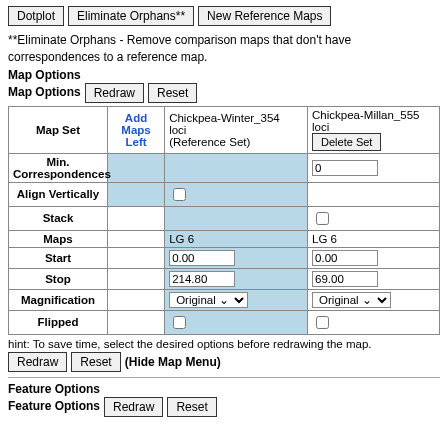Dotplot | Eliminate Orphans** | New Reference Maps (buttons)
**Eliminate Orphans - Remove comparison maps that don't have correspondences to a reference map.
Map Options
Map Options Redraw Reset
| Map Set | Add Maps Left | Chickpea-Winter_354 loci (Reference Set) | Chickpea-Millan_555 loci |
| --- | --- | --- | --- |
| Min. Correspondences |  |  | 0 |
| Align Vertically |  | ☐ |  |
| Stack |  |  | ☐ |
| Maps |  | LG 6 | LG 6 |
| Start |  | 0.00 | 0.00 |
| Stop |  | 214.80 | 69.00 |
| Magnification |  | Original | Original |
| Flipped |  | ☐ | ☐ |
hint: To save time, select the desired options before redrawing the map.
Redraw | Reset | (Hide Map Menu)
Feature Options
Feature Options Redraw Reset